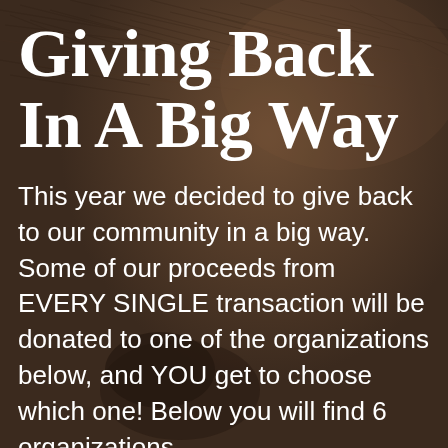Giving Back In A Big Way
This year we decided to give back to our community in a big way. Some of our proceeds from EVERY SINGLE transaction will be donated to one of the organizations below, and YOU get to choose which one! Below you will find 6 organizations